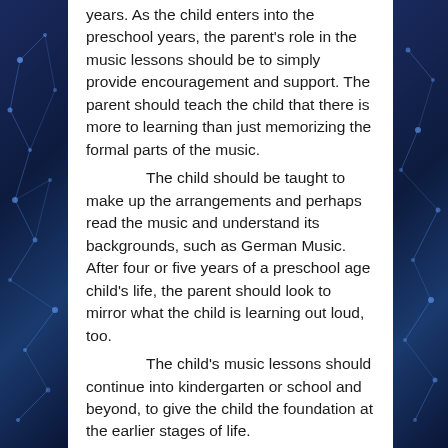years. As the child enters into the preschool years, the parent's role in the music lessons should be to simply provide encouragement and support. The parent should teach the child that there is more to learning than just memorizing the formal parts of the music.
	The child should be taught to make up the arrangements and perhaps read the music and understand its backgrounds, such as German Music. After four or five years of a preschool age child's life, the parent should look to mirror what the child is learning out loud, too.
	The child's music lessons should continue into kindergarten or school and beyond, to give the child the foundation at the earlier stages of life.